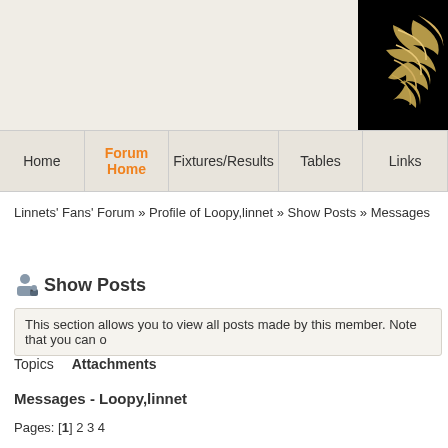[Figure (logo): Black background logo with gold/cream swoosh feather wing design]
Home | Forum Home | Fixtures/Results | Tables | Links
Linnets' Fans' Forum » Profile of Loopy,linnet » Show Posts » Messages
Show Posts
This section allows you to view all posts made by this member. Note that you can o
Topics   Attachments
Messages - Loopy,linnet
Pages: [1] 2 3 4